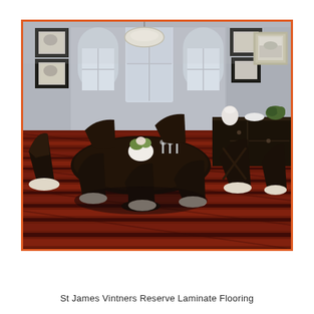[Figure (photo): Interior dining room scene with dark wood furniture (round dining table with 6-8 chairs, sideboard/buffet against the right wall), gray walls with arched windows, pendant light fixture, black-framed artwork on walls, and dark red/burgundy laminate wood flooring (St James Vintners Reserve). The floor features rich reddish-brown wood plank patterns.]
St James Vintners Reserve Laminate Flooring